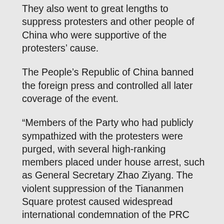They also went to great lengths to suppress protesters and other people of China who were supportive of the protesters' cause.
The People's Republic of China banned the foreign press and controlled all later coverage of the event.
“Members of the Party who had publicly sympathized with the protesters were purged, with several high-ranking members placed under house arrest, such as General Secretary Zhao Ziyang. The violent suppression of the Tiananmen Square protest caused widespread international condemnation of the PRC government” (Andrew Nathan, The Tiananmen Papers).
The protesters — among whom were advocates of laissez-faire as well as disillusioned communists and Trotskyites and many other groups besides — were